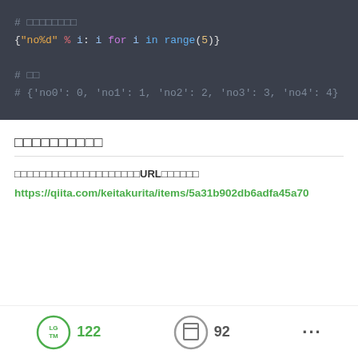[Figure (screenshot): Code block on dark background showing Python dictionary comprehension: # (Japanese chars) {"no%d" % i: i for i in range(5)} # (Japanese chars) # {'no0': 0, 'no1': 1, 'no2': 2, 'no3': 3, 'no4': 4}]
□□□□□□□□□□
□□□□□□□□□□□□□□□□□□□□URL□□□□□□
https://qiita.com/keitakurita/items/5a31b902db6adfa45a70
LGTM 122   92   ...